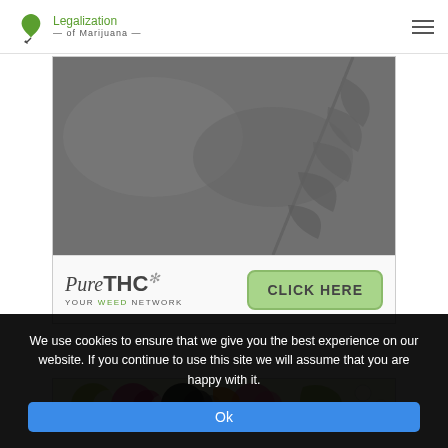Legalization of Marijuana
[Figure (photo): Cannabis plant photo with dark gray overlay, PureTHC Your Weed Network advertisement with CLICK HERE button]
[Figure (illustration): Colorful abstract illustration with circles and floral elements in green, pink, orange and black]
We use cookies to ensure that we give you the best experience on our website. If you continue to use this site we will assume that you are happy with it.